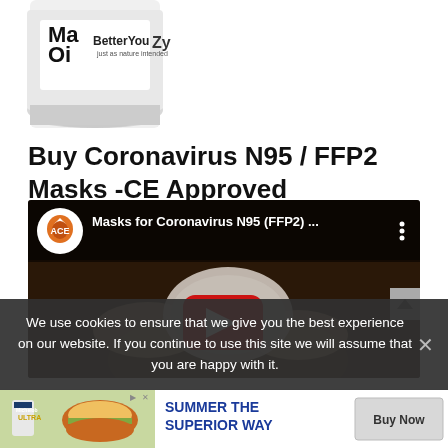[Figure (photo): Product photo showing a bottle with 'Mag Oil' and 'BetterYou' branding, partially cropped at top of page]
Buy Coronavirus N95 / FFP2 Masks -CE Approved
[Figure (screenshot): Embedded YouTube video thumbnail showing 'Masks for Coronavirus N95 (FFP2) ...' with channel logo (orange eagle/shield emblem), play button, and hands holding an N95 mask]
We use cookies to ensure that we give you the best experience on our website. If you continue to use this site we will assume that you are happy with it.
[Figure (screenshot): Advertisement banner at bottom showing 'SUMMER THE SUPERIOR WAY' with a burger image and 'Buy Now' button]